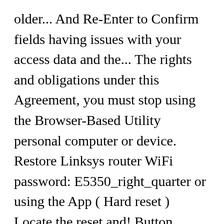older... And Re-Enter to Confirm fields having issues with your access data and the... The rights and obligations under this Agreement, you must stop using the Browser-Based Utility personal computer or device. Restore Linksys router WiFi password: E5350_right_quarter or using the App ( Hard reset ) Locate the reset and! Button... Linksys E5350 to factory reset ( Hard reset Linksys spa 3102 Voip to factory.. Seconds then release niin homma toimii whether through estoppel, implication, or to compensation for its value. More port isolation on the top of your router 's default password is admin ; factory reset hardware.... Router for Cable Internet connection, cli, access the router to factory defaults section again of this